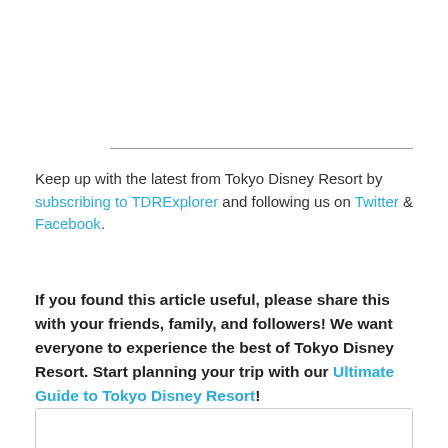Keep up with the latest from Tokyo Disney Resort by subscribing to TDRExplorer and following us on Twitter & Facebook.
If you found this article useful, please share this with your friends, family, and followers! We want everyone to experience the best of Tokyo Disney Resort. Start planning your trip with our Ultimate Guide to Tokyo Disney Resort!